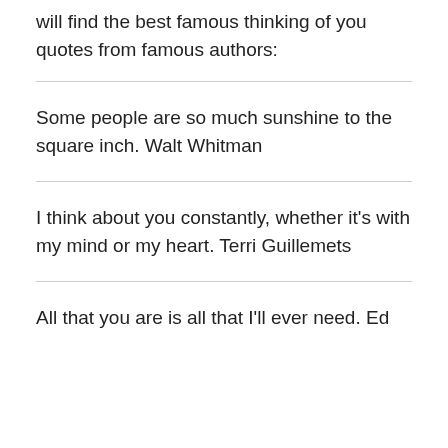will find the best famous thinking of you quotes from famous authors:
Some people are so much sunshine to the square inch. Walt Whitman
I think about you constantly, whether it's with my mind or my heart. Terri Guillemets
All that you are is all that I'll ever need. Ed